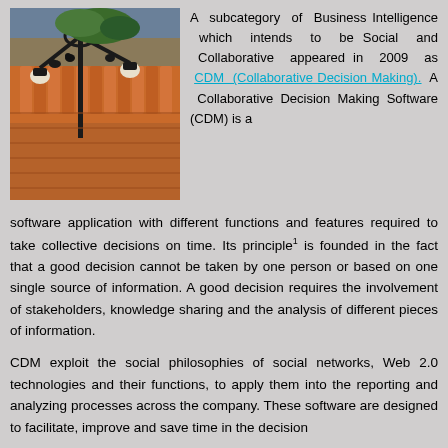[Figure (photo): A photograph of an ornate black iron street lamp or sign bracket mounted on a building, with birds perched on it and decorative foliage. Behind it are terracotta/orange tiled rooftops and brick facade of a historic building.]
A subcategory of Business Intelligence which intends to be Social and Collaborative appeared in 2009 as CDM (Collaborative Decision Making). A Collaborative Decision Making Software (CDM) is a
software application with different functions and features required to take collective decisions on time. Its principle¹ is founded in the fact that a good decision cannot be taken by one person or based on one single source of information. A good decision requires the involvement of stakeholders, knowledge sharing and the analysis of different pieces of information.
CDM exploit the social philosophies of social networks, Web 2.0 technologies and their functions, to apply them into the reporting and analyzing processes across the company. These software are designed to facilitate, improve and save time in the decision